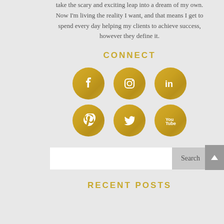take the scary and exciting leap into a dream of my own. Now I'm living the reality I want, and that means I get to spend every day helping my clients to achieve success, however they define it.
CONNECT
[Figure (infographic): Six social media icons in gold circles: Facebook, Instagram, LinkedIn (top row); Pinterest, Twitter, YouTube (bottom row)]
[Figure (other): Search bar with text input and Search button]
RECENT POSTS